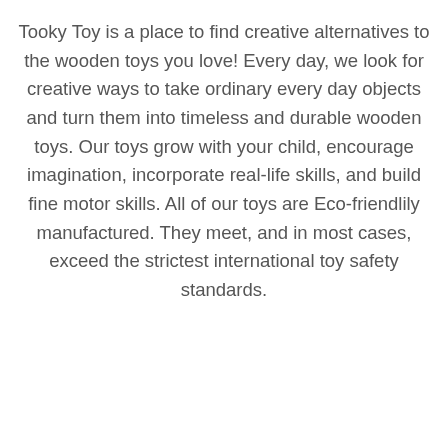Tooky Toy is a place to find creative alternatives to the wooden toys you love! Every day, we look for creative ways to take ordinary every day objects and turn them into timeless and durable wooden toys. Our toys grow with your child, encourage imagination, incorporate real-life skills, and build fine motor skills. All of our toys are Eco-friendlily manufactured. They meet, and in most cases, exceed the strictest international toy safety standards.